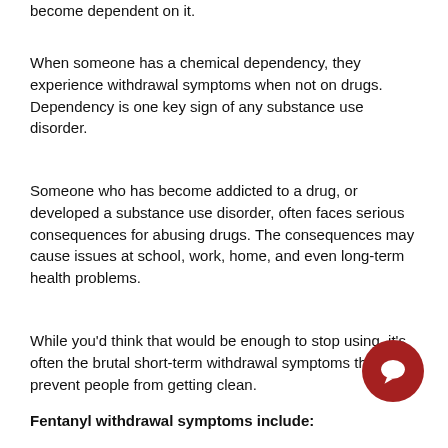become dependent on it.
When someone has a chemical dependency, they experience withdrawal symptoms when not on drugs. Dependency is one key sign of any substance use disorder.
Someone who has become addicted to a drug, or developed a substance use disorder, often faces serious consequences for abusing drugs. The consequences may cause issues at school, work, home, and even long-term health problems.
While you'd think that would be enough to stop using, it's often the brutal short-term withdrawal symptoms that prevent people from getting clean.
Fentanyl withdrawal symptoms include: